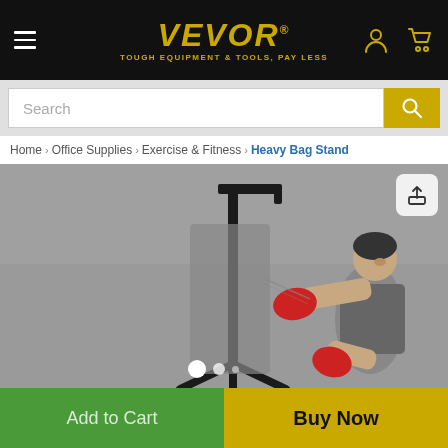VEVOR — TOUGH EQUIPMENT & TOOLS, PAY LESS
Search
Home > Office Supplies > Exercise & Fitness > Heavy Bag Stand
[Figure (photo): A man wearing red boxing gloves punching toward a heavy bag stand. The stand is a tall black metal freestanding unit with a tripod base and horizontal arm. Background is grey.]
Add to Cart
Buy Now